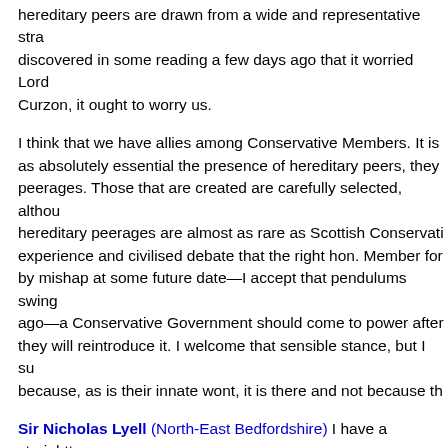hereditary peers are drawn from a wide and representative stra... discovered in some reading a few days ago that it worried Lord Curzon, it ought to worry us.
I think that we have allies among Conservative Members. It is as absolutely essential the presence of hereditary peers, they peerages. Those that are created are carefully selected, althou hereditary peerages are almost as rare as Scottish Conservati experience and civilised debate that the right hon. Member for by mishap at some future date—I accept that pendulums swing ago—a Conservative Government should come to power after they will reintroduce it. I welcome that sensible stance, but I su because, as is their innate wont, it is there and not because th
Sir Nicholas Lyell (North-East Bedfordshire) I have a straightt State. How can it possibly be right to destroy or fundamentally thinking through and putting before the House what is intended
Mr. Dewar No questions are quite straightforward, even those Gentleman. We think that the hereditary principle is indefensib that proposition as it stands. A more broadly based House of L